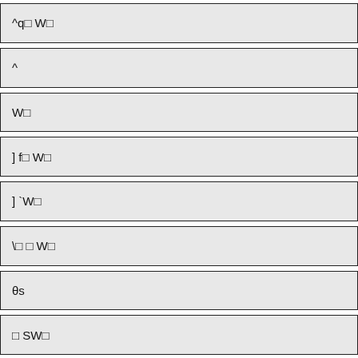^q￼ W￼
^
W￼
] f￼ W￼
] `W￼
\￼ ￼ W￼
0s
￼ SW￼